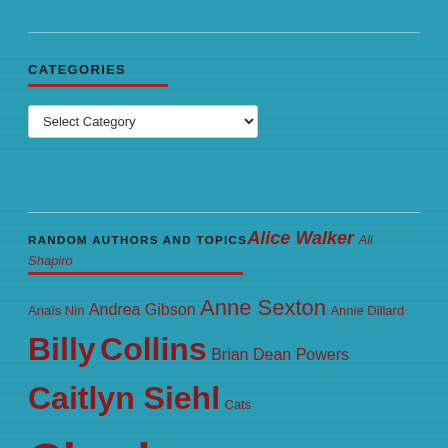CATEGORIES
Select Category
RANDOM AUTHORS AND TOPICS
Anaïs Nin Andrea Gibson Anne Sexton Annie Dillard Billy Collins Brian Dean Powers Caitlyn Siehl Cats Charles Bukowski Cheryl Strayed Clementine von Radics Compassion czeslaw milosz Dana Gioia David Foster Wallace David Levithan David Shumate David Whyte death